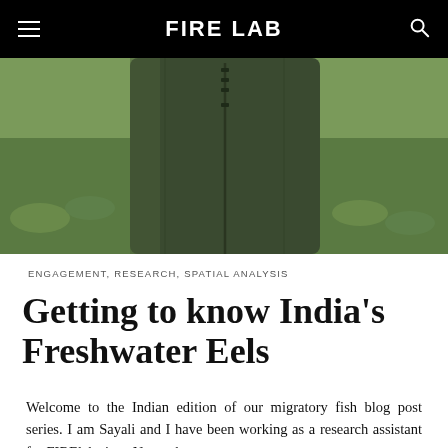FIRE LAB
[Figure (photo): Close-up photograph of dark green waders or waterproof overalls laid against a grassy background]
ENGAGEMENT, RESEARCH, SPATIAL ANALYSIS
Getting to know India's Freshwater Eels
Welcome to the Indian edition of our migratory fish blog post series. I am Sayali and I have been working as a research assistant for FIRElab since November